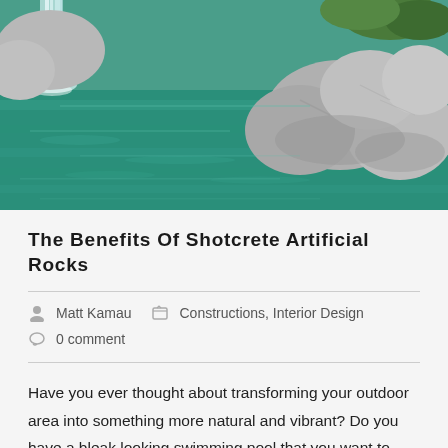[Figure (photo): Outdoor swimming pool with teal/turquoise water, large natural-looking shotcrete artificial rocks on the right side, and a waterfall feature on the upper left. Lush greenery visible in the background.]
The Benefits Of Shotcrete Artificial Rocks
Matt Kamau   Constructions, Interior Design   0 comment
Have you ever thought about transforming your outdoor area into something more natural and vibrant? Do you have a bleak looking swimming pool that you want to make